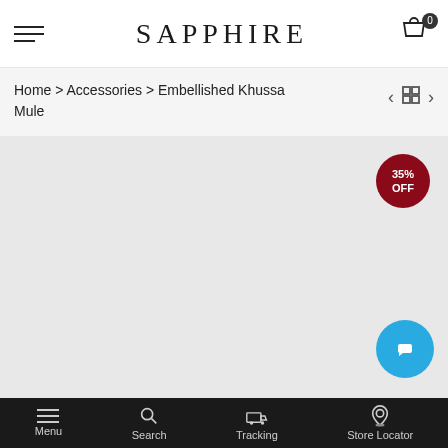SAPPHIRE
Home > Accessories > Embellished Khussa Mule
[Figure (screenshot): Product image area showing a grey placeholder image with a 35% OFF badge in dark red circle in the top-right corner. A teal chat bubble button is in the lower-right.]
Menu  Search  Tracking  Store Locator